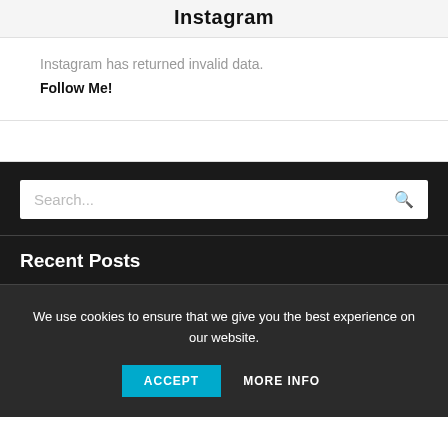Instagram
Instagram has returned invalid data.
Follow Me!
Search...
Recent Posts
We use cookies to ensure that we give you the best experience on our website.
ACCEPT   MORE INFO